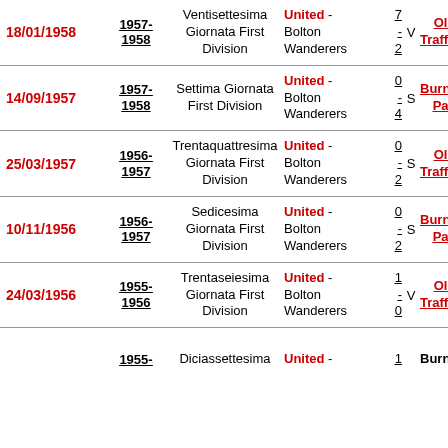| Date | Season | Match | Teams | Score | H/V | Venue |
| --- | --- | --- | --- | --- | --- | --- |
| 18/01/1958 | 1957-1958 | Ventisettesima Giornata First Division | United - Bolton Wanderers | 7 - 2 | V | Old Trafford |
| 14/09/1957 | 1957-1958 | Settima Giornata First Division | United - Bolton Wanderers | 0 - 4 | S | Burnden Park |
| 25/03/1957 | 1956-1957 | Trentaquattresima Giornata First Division | United - Bolton Wanderers | 0 - 2 | S | Old Trafford |
| 10/11/1956 | 1956-1957 | Sedicesima Giornata First Division | United - Bolton Wanderers | 0 - 2 | S | Burnden Park |
| 24/03/1956 | 1955-1956 | Trentaseiesima Giornata First Division | United - Bolton Wanderers | 1 - 0 | V | Old Trafford |
| ? | 1955-? | Diciassettesima ? | United - ? | 1 - ? | ? | Burnden ? |